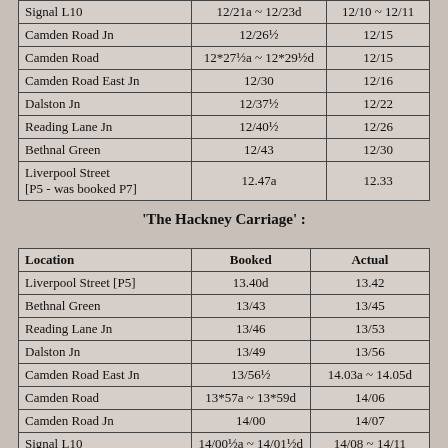| Location | Booked | Actual |
| --- | --- | --- |
| Signal L10 [partial] | 12/21a ~ 12/23d [partial] | 12/10 ~ 12/11 [partial] |
| Camden Road Jn | 12/26½ | 12/15 |
| Camden Road | 12*27½a ~ 12*29½d | 12/15 |
| Camden Road East Jn | 12/30 | 12/16 |
| Dalston Jn | 12/37½ | 12/22 |
| Reading Lane Jn | 12/40½ | 12/26 |
| Bethnal Green | 12/43 | 12/30 |
| Liverpool Street [P5 - was booked P7] | 12.47a | 12.33 |
'The Hackney Carriage' :
| Location | Booked | Actual |
| --- | --- | --- |
| Liverpool Street [P5] | 13.40d | 13.42 |
| Bethnal Green | 13/43 | 13/45 |
| Reading Lane Jn | 13/46 | 13/53 |
| Dalston Jn | 13/49 | 13/56 |
| Camden Road East Jn | 13/56½ | 14.03a ~ 14.05d |
| Camden Road | 13*57a ~ 13*59d | 14/06 |
| Camden Road Jn | 14/00 | 14/07 |
| Signal L10 [partial] | 14/00½a ~ 14/01½d [partial] | 14/08 ~ 14/11 [partial] |